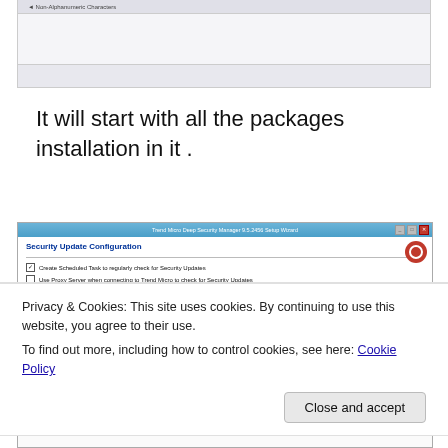[Figure (screenshot): Top portion of a software installation dialog (partial, cropped at top). Shows a Windows-style dialog with a row at top and a grey body area.]
It will start with all the packages installation in it .
[Figure (screenshot): Trend Micro Deep Security Manager 9.5.2456 Setup Wizard - Security Update Configuration dialog. Shows checkboxes: 'Create Scheduled Task to regularly check for Security Updates' (checked) and 'Use Proxy Server when connecting to Trend Micro to check for Security Updates' (unchecked).]
Privacy & Cookies: This site uses cookies. By continuing to use this website, you agree to their use.
To find out more, including how to control cookies, see here: Cookie Policy
[Figure (screenshot): Bottom strip of the setup wizard showing text about relay to download and distribute Security and Software Updates.]